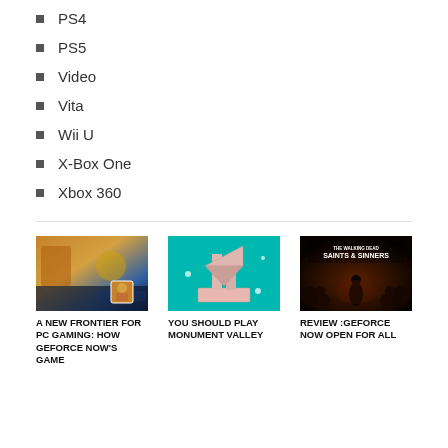PS4
PS5
Video
Vita
Wii U
X-Box One
Xbox 360
[Figure (photo): Screenshot of a colorful PC game with orange sci-fi environment]
A NEW FRONTIER FOR PC GAMING: HOW GEFORCE NOW'S GAME
[Figure (photo): Monument Valley game screenshot on teal background with isometric geometric structure]
YOU SHOULD PLAY MONUMENT VALLEY
[Figure (photo): The Walking Dead: Saints & Sinners game cover with silhouette figure surrounded by zombies]
REVIEW :GEFORCE NOW OPEN FOR ALL